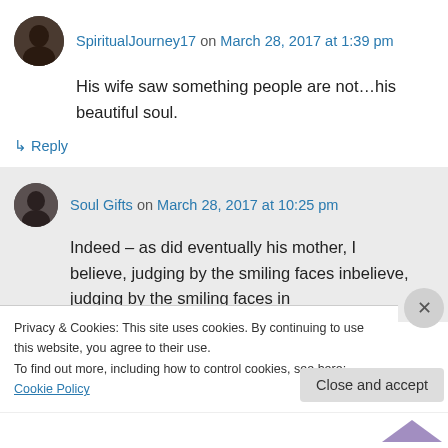SpiritualJourney17 on March 28, 2017 at 1:39 pm
His wife saw something people are not...his beautiful soul.
↳ Reply
Soul Gifts on March 28, 2017 at 10:25 pm
Indeed – as did eventually his mother, I believe, judging by the smiling faces in
Privacy & Cookies: This site uses cookies. By continuing to use this website, you agree to their use.
To find out more, including how to control cookies, see here: Cookie Policy
Close and accept